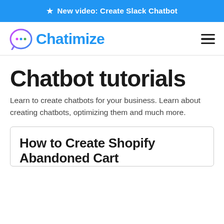★ New video: Create Slack Chatbot
[Figure (logo): Chatimize logo with chat bubble icon and blue text]
Chatbot tutorials
Learn to create chatbots for your business. Learn about creating chatbots, optimizing them and much more.
How to Create Shopify Abandoned Cart